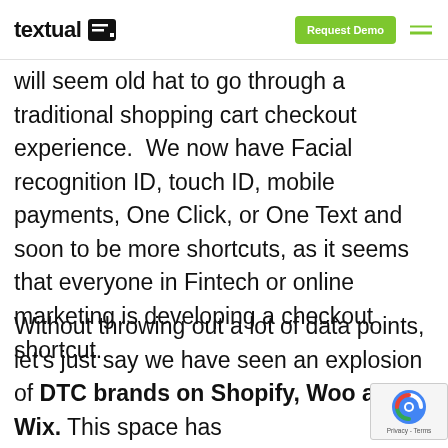textual  Request Demo
will seem old hat to go through a traditional shopping cart checkout experience.  We now have Facial recognition ID, touch ID, mobile payments, One Click, or One Text and soon to be more shortcuts, as it seems that everyone in Fintech or online marketing is developing a checkout shortcut.
Without throwing out a lot of data points, let’s just say we have seen an explosion of DTC brands on Shopify, Woo and Wix.  This space has